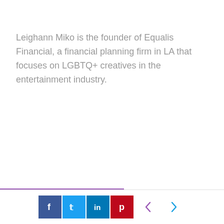Leighann Miko is the founder of Equalis Financial, a financial planning firm in LA that focuses on LGBTQ+ creatives in the entertainment industry.
[Figure (other): Social sharing footer bar with Facebook, Twitter, LinkedIn, Pinterest icons and previous/next navigation arrows]